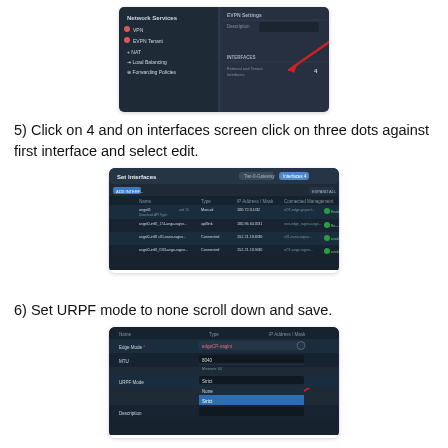[Figure (screenshot): Screenshot of network services menu with VPN, EVPN Tenant, NAT, Load Balancing, Forwarding Policies options, and EVPN Settings panel showing Description field and INTERFACES section with red arrow pointing to number 4.]
5) Click on 4 and on interfaces screen click on three dots against first interface and select edit.
[Figure (screenshot): Screenshot of Set Interfaces screen showing a table with columns: Name, Type, IP Address/Mask, Connected Management, Status. Contains multiple rows of interface entries including angst0 in Enabled/Connected state.]
6) Set URPF mode to none scroll down and save.
[Figure (screenshot): Screenshot of interface edit form showing fields: Name, Type, IP Address/Mask. Edge Mode set to edgeCP-nagini, MTU set to 8040 (Minimum 64), URPF Mode showing Strict with dropdown showing None and Strict options, Description field. Red arrow pointing to None option.]